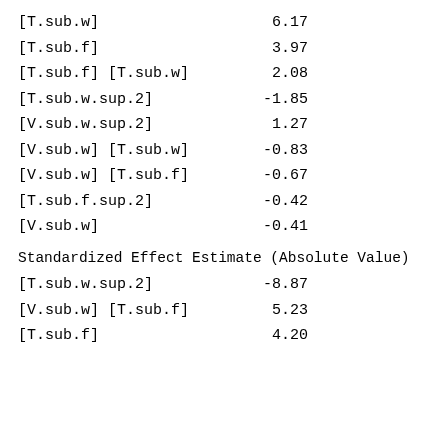[T.sub.w]    6.17
[T.sub.f]    3.97
[T.sub.f] [T.sub.w]    2.08
[T.sub.w.sup.2]    -1.85
[V.sub.w.sup.2]    1.27
[V.sub.w] [T.sub.w]    -0.83
[V.sub.w] [T.sub.f]    -0.67
[T.sub.f.sup.2]    -0.42
[V.sub.w]    -0.41
Standardized Effect Estimate (Absolute Value)
[T.sub.w.sup.2]    -8.87
[V.sub.w] [T.sub.f]    5.23
[T.sub.f]    4.20